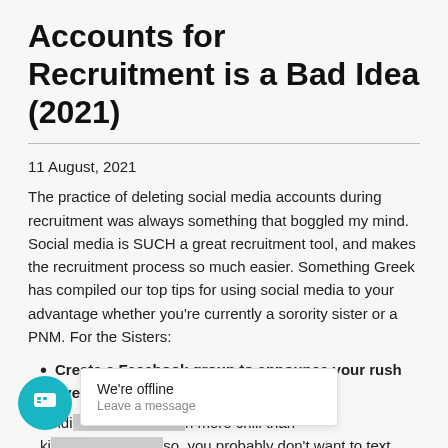Accounts for Recruitment is a Bad Idea (2021)
11 August, 2021
The practice of deleting social media accounts during recruitment was always something that boggled my mind. Social media is SUCH a great recruitment tool, and makes the recruitment process so much easier. Something Greek has compiled our top tips for using social media to your advantage whether you're currently a sorority sister or a PNM. For the Sisters:
Create a Facebook group to announce your rush events.
Finding [obscured] h more chill than ki[obscured]so, you probably don't want to text hundreds of girls for every event.